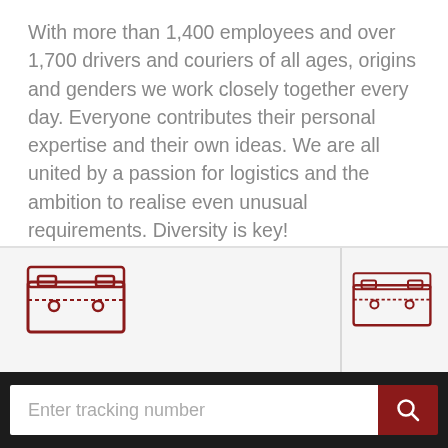With more than 1,400 employees and over 1,700 drivers and couriers of all ages, origins and genders we work closely together every day. Everyone contributes their personal expertise and their own ideas. We are all united by a passion for logistics and the ambition to realise even unusual requirements. Diversity is key!
[Figure (illustration): Red outline briefcase/toolbox icon on light grey background, left panel]
[Figure (illustration): Red outline briefcase/toolbox icon on light grey background, right panel (partially visible)]
Shipment tracking | Your GO! station | To our v
Enter tracking number